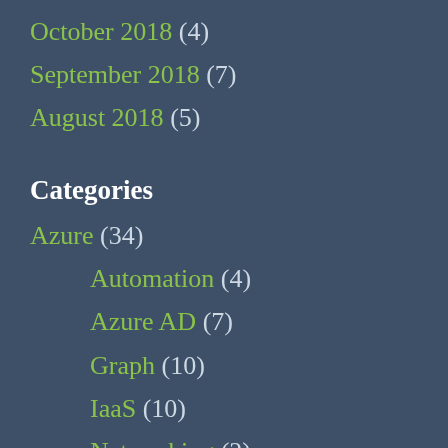October 2018 (4)
September 2018 (7)
August 2018 (5)
Categories
Azure (34)
Automation (4)
Azure AD (7)
Graph (10)
IaaS (10)
Networking (2)
Security (5)
ConfigMgr (18)